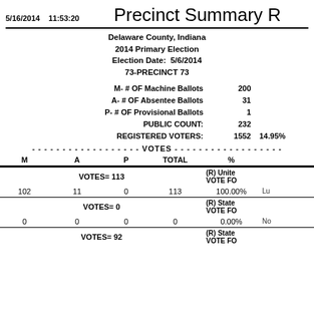5/16/2014   11:53:20   Precinct Summary R
Delaware County, Indiana
2014 Primary Election
Election Date:  5/6/2014
73-PRECINCT 73
M- # OF Machine Ballots   200
A- # OF Absentee Ballots   31
P- # OF Provisional Ballots   1
PUBLIC COUNT:   232
REGISTERED VOTERS:   1552   14.95%
- - - - - - - - - - - - - - - - - - VOTES - - - - - - - - - - - - - - - - - -
| M | A | P | TOTAL | % |  |
| --- | --- | --- | --- | --- | --- |
| VOTES= 113 |  |  |  |  | (R) United... VOTE FO... |
| 102 | 11 | 0 | 113 | 100.00% | Lu... |
| VOTES= 0 |  |  |  |  | (R) State... VOTE FO... |
| 0 | 0 | 0 | 0 | 0.00% | No... |
| VOTES= 92 |  |  |  |  | (R) State... VOTE FO... |